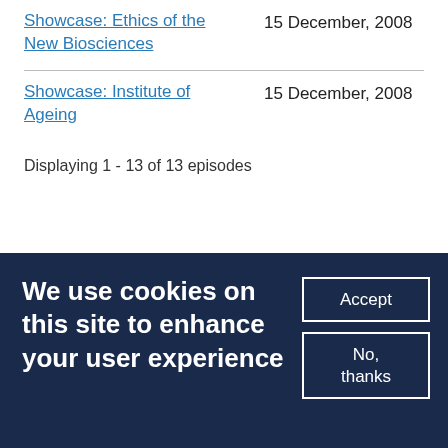Showcase: Ethics of the New Biosciences — 15 December, 2008
Showcase: Institute of Ageing — 15 December, 2008
Displaying 1 - 13 of 13 episodes
We use cookies on this site to enhance your user experience
Accept
No, thanks